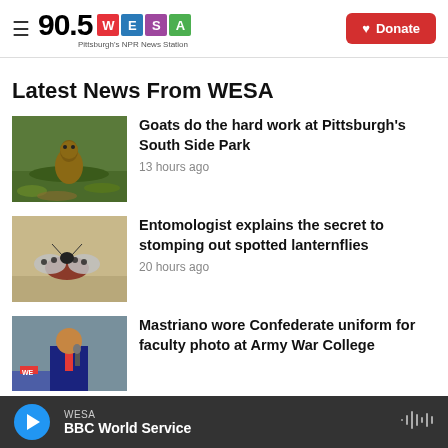90.5 WESA Pittsburgh's NPR News Station — Donate
Latest News From WESA
[Figure (photo): A squirrel or groundhog on grass and leaves near a park]
Goats do the hard work at Pittsburgh's South Side Park
13 hours ago
[Figure (photo): A spotted lanternfly on sandy ground]
Entomologist explains the secret to stomping out spotted lanternflies
20 hours ago
[Figure (photo): A man in a suit speaking at a rally with a We sign visible]
Mastriano wore Confederate uniform for faculty photo at Army War College
WESA BBC World Service